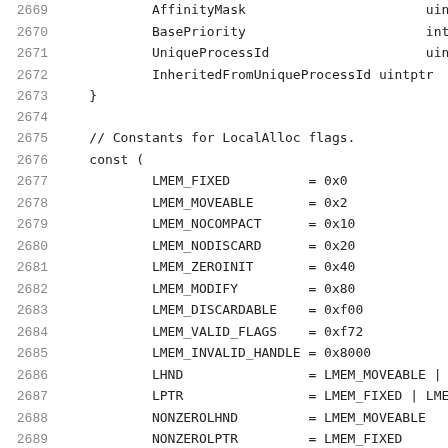Code listing lines 2669-2690 showing struct fields AffinityMask, BasePriority, UniqueProcessId, InheritedFromUniqueProcessId, and constants for LocalAlloc flags including LMEM_FIXED, LMEM_MOVEABLE, LMEM_NOCOMPACT, LMEM_NODISCARD, LMEM_ZEROINIT, LMEM_MODIFY, LMEM_DISCARDABLE, LMEM_VALID_FLAGS, LMEM_INVALID_HANDLE, LHND, LPTR, NONZEROLHND, NONZEROLPTR